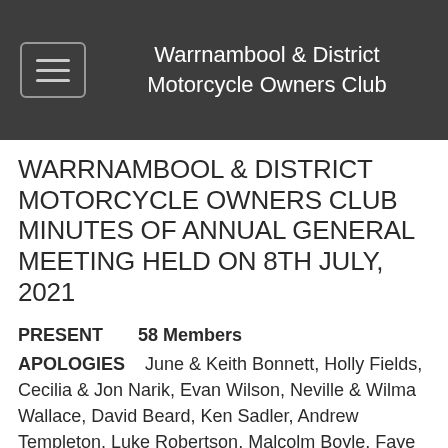Warrnambool & District Motorcycle Owners Club
WARRNAMBOOL & DISTRICT MOTORCYCLE OWNERS CLUB MINUTES OF ANNUAL GENERAL MEETING HELD ON 8TH JULY, 2021
PRESENT       58 Members
APOLOGIES    June & Keith Bonnett, Holly Fields, Cecilia & Jon Narik, Evan Wilson, Neville & Wilma Wallace, David Beard, Ken Sadler, Andrew Templeton, Luke Robertson, Malcolm Boyle, Faye Owen, Tom Woodhams , Peter McVeigh, Paul Kelly, Tom King,
No Minutes for July, 2020 because of Covid.  Financial